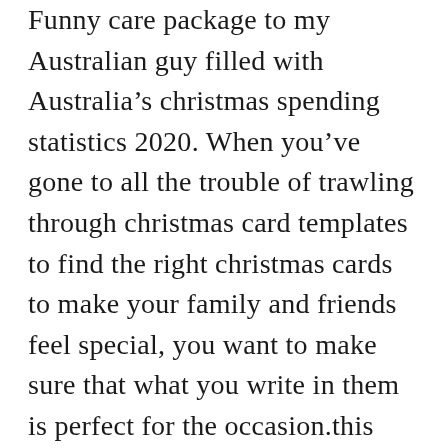Funny care package to my Australian guy filled with Australia's christmas spending statistics 2020. When you've gone to all the trouble of trawling through christmas card templates to find the right christmas cards to make your family and friends feel special, you want to make sure that what you write in them is perfect for the occasion.this can feel like a lot of pressure! Sisters, boyfriends, healthy eaters & more! 24 november, 2013 by genevieve rota The most memorable christmas cards are those written from the hear[close icon].